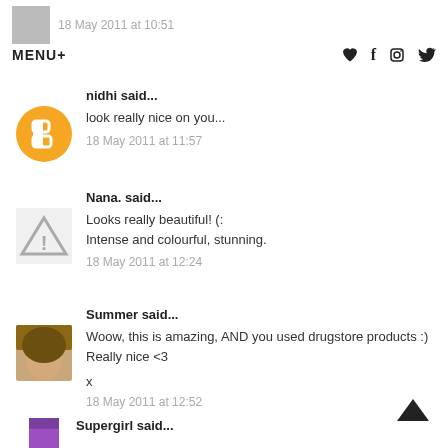18 May 2011 at 10:51 | MENU+
nidhi said...
look really nice on you...
18 May 2011 at 11:57
Nana. said...
Looks really beautiful! (:
Intense and colourful, stunning.
18 May 2011 at 12:24
Summer said...
Woow, this is amazing, AND you used drugstore products :)
Really nice <3

x

18 May 2011 at 12:52
Supergirl said...